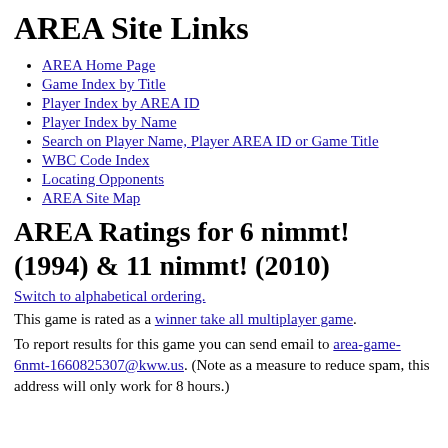AREA Site Links
AREA Home Page
Game Index by Title
Player Index by AREA ID
Player Index by Name
Search on Player Name, Player AREA ID or Game Title
WBC Code Index
Locating Opponents
AREA Site Map
AREA Ratings for 6 nimmt! (1994) & 11 nimmt! (2010)
Switch to alphabetical ordering.
This game is rated as a winner take all multiplayer game.
To report results for this game you can send email to area-game-6nmt-1660825307@kww.us. (Note as a measure to reduce spam, this address will only work for 8 hours.)